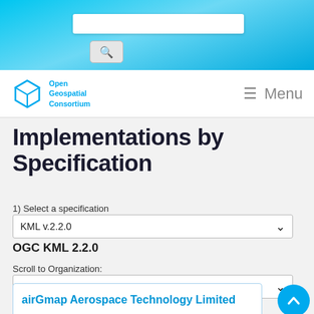[Figure (screenshot): OGC website header with blue gradient background, search bar and search button]
[Figure (logo): Open Geospatial Consortium logo (blue cube icon) with text 'Open Geospatial Consortium' and hamburger Menu nav]
Implementations by Specification
1) Select a specification
KML v.2.2.0 (dropdown)
OGC KML 2.2.0
Scroll to Organization:
- (dropdown)
airGmap Aerospace Technology Limited